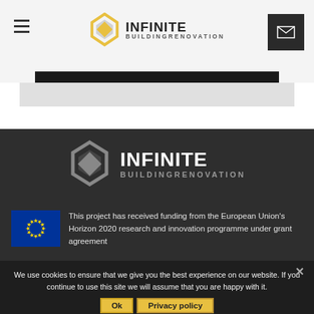[Figure (logo): Infinite Building Renovation logo in top navigation bar with hamburger menu and mail button]
[Figure (logo): Infinite Building Renovation white logo centered in dark footer section]
This project has received funding from the European Union's Horizon 2020 research and innovation programme under grant agreement
We use cookies to ensure that we give you the best experience on our website. If you continue to use this site we will assume that you are happy with it.